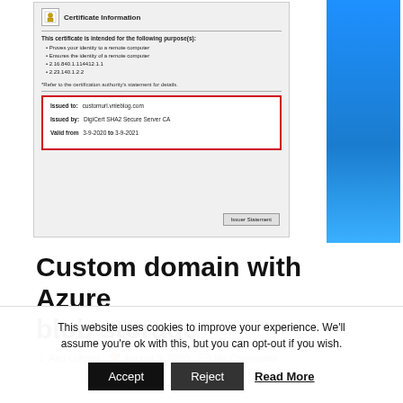[Figure (screenshot): Windows certificate information dialog screenshot showing a certificate issued to customurl.vnieblog.com, issued by DigiCert SHA2 Secure Server CA, valid from 3-9-2020 to 3-9-2021, with a red-bordered details box and an 'Issuer Statement' button. A blue panel is visible on the right side.]
Custom domain with Azure blob storage
Aad Lutgert   August 3, 2020   No Comments
This website uses cookies to improve your experience. We'll assume you're ok with this, but you can opt-out if you wish.